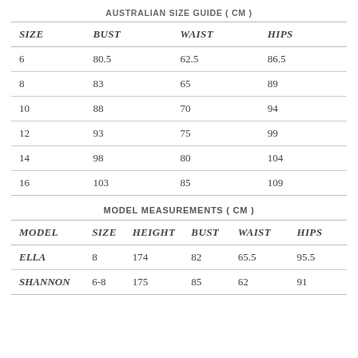AUSTRALIAN SIZE GUIDE ( CM )
| SIZE | BUST | WAIST | HIPS |
| --- | --- | --- | --- |
| 6 | 80.5 | 62.5 | 86.5 |
| 8 | 83 | 65 | 89 |
| 10 | 88 | 70 | 94 |
| 12 | 93 | 75 | 99 |
| 14 | 98 | 80 | 104 |
| 16 | 103 | 85 | 109 |
MODEL MEASUREMENTS ( CM )
| MODEL | SIZE | HEIGHT | BUST | WAIST | HIPS |
| --- | --- | --- | --- | --- | --- |
| ELLA | 8 | 174 | 82 | 65.5 | 95.5 |
| SHANNON | 6-8 | 175 | 85 | 62 | 91 |